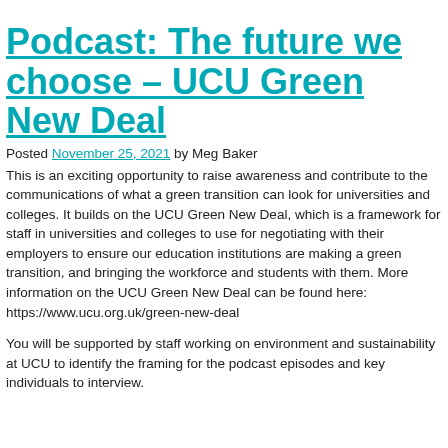Podcast: The future we choose – UCU Green New Deal
Posted November 25, 2021 by Meg Baker
This is an exciting opportunity to raise awareness and contribute to the communications of what a green transition can look for universities and colleges. It builds on the UCU Green New Deal, which is a framework for staff in universities and colleges to use for negotiating with their employers to ensure our education institutions are making a green transition, and bringing the workforce and students with them. More information on the UCU Green New Deal can be found here: https://www.ucu.org.uk/green-new-deal
You will be supported by staff working on environment and sustainability at UCU to identify the framing for the podcast episodes and key individuals to interview.